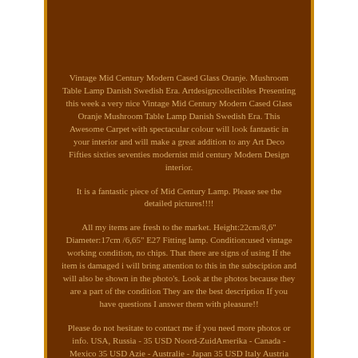Vintage Mid Century Modern Cased Glass Oranje. Mushroom Table Lamp Danish Swedish Era. Artdesigncollectibles Presenting this week a very nice Vintage Mid Century Modern Cased Glass Oranje Mushroom Table Lamp Danish Swedish Era. This Awesome Carpet with spectacular colour will look fantastic in your interior and will make a great addition to any Art Deco Fifties sixties seventies modernist mid century Modern Design interior.
It is a fantastic piece of Mid Century Lamp. Please see the detailed pictures!!!!
All my items are fresh to the market. Height:22cm/8,6" Diameter:17cm /6,65" E27 Fitting lamp. Condition:used vintage working condition, no chips. That there are signs of using If the item is damaged i will bring attention to this in the subsciption and will also be shown in the photo's. Look at the photos because they are a part of the condition They are the best description If you have questions I answer them with pleasure!!
Please do not hesitate to contact me if you need more photos or info. USA, Russia - 35 USD Noord-ZuidAmerika - Canada - Mexico 35 USD Azie - Australie - Japan 35 USD Italy Austria Portugal Denmark Turkey Spain Norway 38 and E...